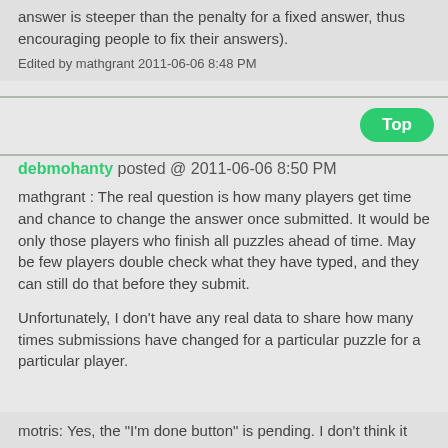answer is steeper than the penalty for a fixed answer, thus encouraging people to fix their answers).
Edited by mathgrant 2011-06-06 8:48 PM
debmohanty posted @ 2011-06-06 8:50 PM
mathgrant : The real question is how many players get time and chance to change the answer once submitted. It would be only those players who finish all puzzles ahead of time. May be few players double check what they have typed, and they can still do that before they submit.
Unfortunately, I don't have any real data to share how many times submissions have changed for a particular puzzle for a particular player.
motris: Yes, the "I'm done button" is pending. I don't think it